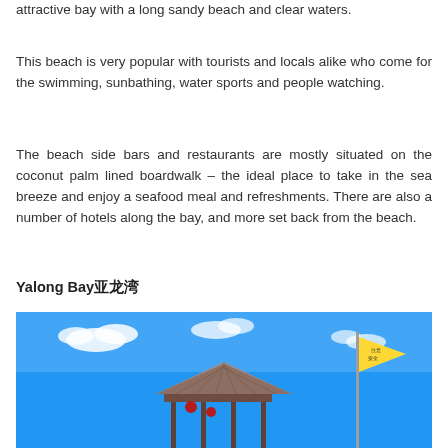attractive bay with a long sandy beach and clear waters.
This beach is very popular with tourists and locals alike who come for the swimming, sunbathing, water sports and people watching.
The beach side bars and restaurants are mostly situated on the coconut palm lined boardwalk – the ideal place to take in the sea breeze and enjoy a seafood meal and refreshments. There are also a number of hotels along the bay, and more set back from the beach.
Yalong Bay亚龙湾
[Figure (photo): Photo of a beach watchtower/lifeguard station with thatched roof and a yellow flag on a pole against a bright blue sky with white clouds.]